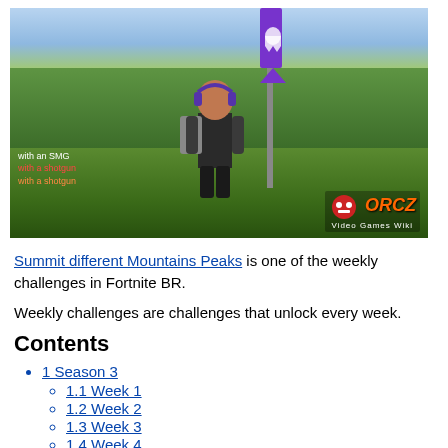[Figure (screenshot): Fortnite BR gameplay screenshot showing a character holding a weapon near a flag pole with 'ORCZ.com Video Games Wiki' watermark in bottom right. HUD text visible in bottom left.]
Summit different Mountains Peaks is one of the weekly challenges in Fortnite BR.
Weekly challenges are challenges that unlock every week.
Contents
1 Season 3
1.1 Week 1
1.2 Week 2
1.3 Week 3
1.4 Week 4